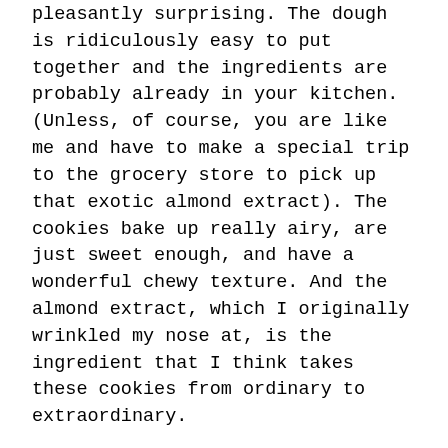pleasantly surprising. The dough is ridiculously easy to put together and the ingredients are probably already in your kitchen. (Unless, of course, you are like me and have to make a special trip to the grocery store to pick up that exotic almond extract). The cookies bake up really airy, are just sweet enough, and have a wonderful chewy texture. And the almond extract, which I originally wrinkled my nose at, is the ingredient that I think takes these cookies from ordinary to extraordinary.
Now, let's be honest. Best-Ever Oatmeal Cookies are not showy, frou-frou, center-stage cookies for baby showers and Christmas parties. They are humble workhorse cookies meant for snacks after naptime and school and for lunch boxes and road trips and days at the beach. They have no aspirations to be anything but utilitarian and that's OK. They are, actually, the medicine...